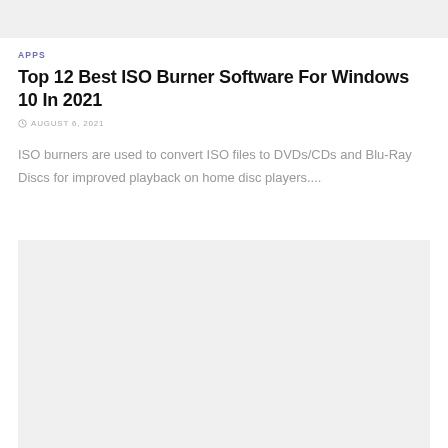[Figure (other): Gray banner/header bar at the top of the page]
APPS
Top 12 Best ISO Burner Software For Windows 10 In 2021
AUGUST 6, 2021
ISO burners are used to convert ISO files to DVDs/CDs and Blu-Ray Discs for improved playback on home disc players....
[Figure (other): Gray placeholder box in the lower portion of the page, likely a thumbnail image]